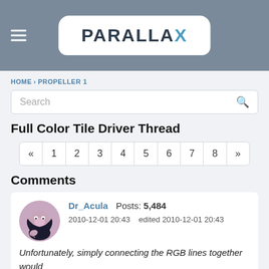[Figure (logo): Parallax logo in white rounded rectangle on grey header background, with hamburger menu icon on left]
HOME › PROPELLER 1
Search
Full Color Tile Driver Thread
« 1 2 3 4 5 6 7 8 »
Comments
Dr_Acula  Posts: 5,484  2010-12-01 20:43   edited 2010-12-01 20:43
Unfortunately, simply connecting the RGB lines together would